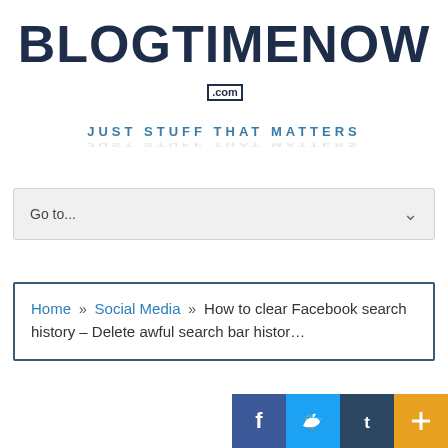[Figure (logo): BlogTimeNow.com logo with text 'BLOGTIMENOW' in dark navy bold font and '.com' in a box, with tagline 'JUST STUFF THAT MATTERS' in blue below]
Go to...
Home » Social Media » How to clear Facebook search history – Delete awful search bar histor…